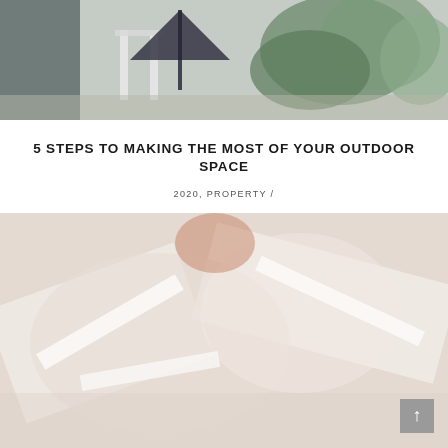[Figure (photo): Outdoor patio/garden scene with white outdoor furniture, umbrella, and lush green plants/bushes in the background. Muted, faded tones.]
5 STEPS TO MAKING THE MOST OF YOUR OUTDOOR SPACE
2020, PROPERTY /
[Figure (photo): Close-up photo of what appears to be outdoor furniture or garden equipment in white/light tones with warm muted colors. A scroll-to-top button (grey square with upward arrow) is overlaid in the bottom right corner.]